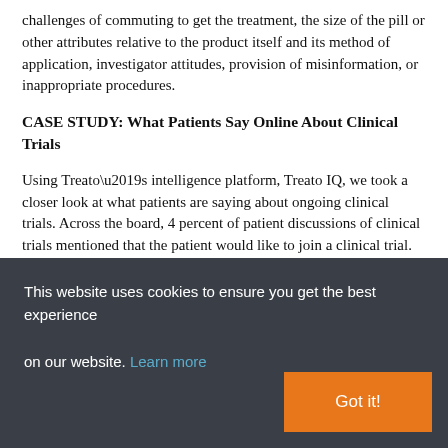challenges of commuting to get the treatment, the size of the pill or other attributes relative to the product itself and its method of application, investigator attitudes, provision of misinformation, or inappropriate procedures.
CASE STUDY: What Patients Say Online About Clinical Trials
Using Treato’s intelligence platform, Treato IQ, we took a closer look at what patients are saying about ongoing clinical trials. Across the board, 4 percent of patient discussions of clinical trials mentioned that the patient would like to join a clinical trial.  While this seems like a very small number, it’s actually a considerable
This website uses cookies to ensure you get the best experience on our website. Learn more
Got it!